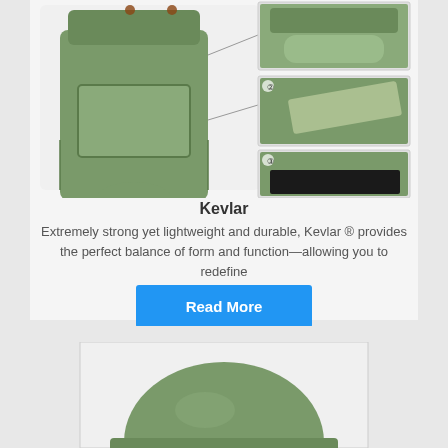[Figure (photo): Green backpack product images: main front view on left, three detail/partial views stacked on right (numbered 1, 2, 3), showing top flap, side compartment opening, and interior]
Kevlar
Extremely strong yet lightweight and durable, Kevlar ® provides the perfect balance of form and function—allowing you to redefine
[Figure (other): Read More button — blue rectangle with white bold text]
[Figure (photo): Green hat/cap product image, partial view showing top of hat]